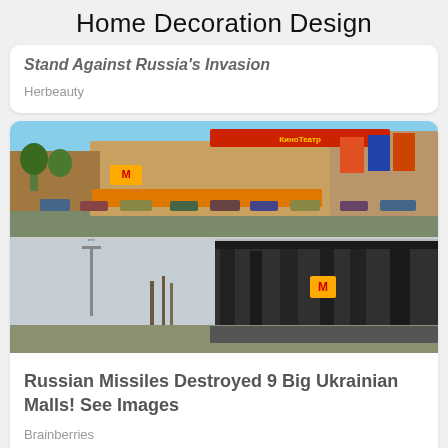Home Decoration Design
Stand Against Russia's Invasion
Herbeauty
[Figure (photo): Two photos: top shows a Russian shopping mall with McDonalds and movie posters on a sunny day; bottom shows the same or similar mall destroyed and burned out after missile strike.]
Russian Missiles Destroyed 9 Big Ukrainian Malls! See Images
Brainberries
[Figure (photo): Group photo of several young people (TV show cast) posed together outdoors with palm trees in background.]